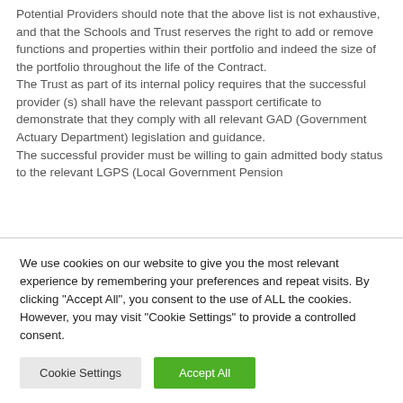Potential Providers should note that the above list is not exhaustive, and that the Schools and Trust reserves the right to add or remove functions and properties within their portfolio and indeed the size of the portfolio throughout the life of the Contract.
The Trust as part of its internal policy requires that the successful provider (s) shall have the relevant passport certificate to demonstrate that they comply with all relevant GAD (Government Actuary Department) legislation and guidance.
The successful provider must be willing to gain admitted body status to the relevant LGPS (Local Government Pension
We use cookies on our website to give you the most relevant experience by remembering your preferences and repeat visits. By clicking "Accept All", you consent to the use of ALL the cookies. However, you may visit "Cookie Settings" to provide a controlled consent.